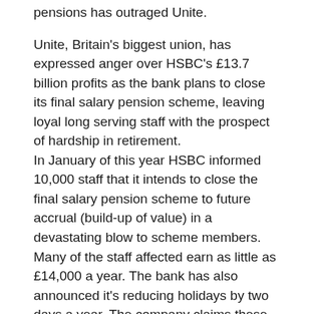pensions has outraged Unite.
Unite, Britain's biggest union, has expressed anger over HSBC's £13.7 billion profits as the bank plans to close its final salary pension scheme, leaving loyal long serving staff with the prospect of hardship in retirement.
In January of this year HSBC informed 10,000 staff that it intends to close the final salary pension scheme to future accrual (build-up of value) in a devastating blow to scheme members. Many of the staff affected earn as little as £14,000 a year. The bank has also announced it's reducing holidays by two days a year. The company claims these proposals will save the bank £46 million a year.
Unite national officer Dominic Hook said: